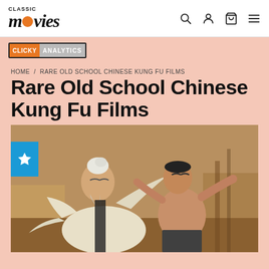Classic Movies
CLICKY ANALYTICS
HOME / RARE OLD SCHOOL CHINESE KUNG FU FILMS
Rare Old School Chinese Kung Fu Films
[Figure (photo): Two men in martial arts poses — an elderly man with white hair and beard in a black and white robe in the foreground, and a shirtless younger man behind him, both in kung fu stances inside what appears to be a training hall.]